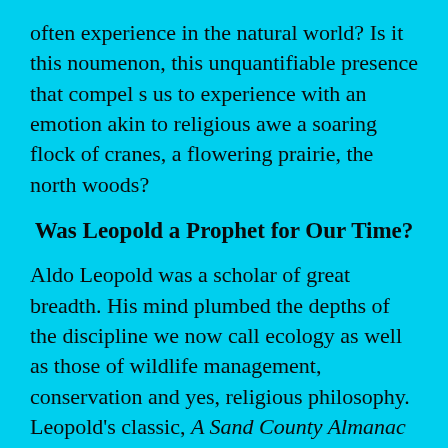often experience in the natural world? Is it this noumenon, this unquantifiable presence that compel s us to experience with an emotion akin to religious awe a soaring flock of cranes, a flowering prairie, the north woods?
Was Leopold a Prophet for Our Time?
Aldo Leopold was a scholar of great breadth. His mind plumbed the depths of the discipline we now call ecology as well as those of wildlife management, conservation and yes, religious philosophy. Leopold's classic, A Sand County Almanac makes frequent use of scriptural content and metaphor. Gavin Van Horn, writing in the Journal for the Study of Religion,